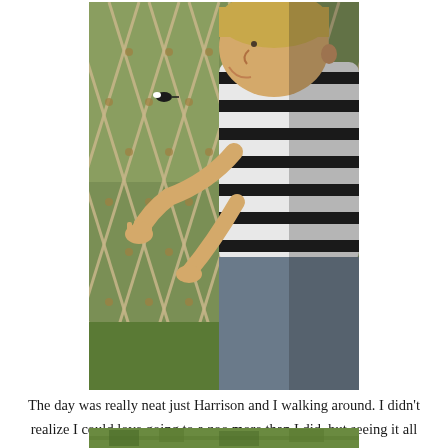[Figure (photo): A young boy with short blond hair wearing a black and white striped polo shirt, pressing his face and hands against a rope net fence at a zoo, looking through at animals beyond. Green grass and a bird visible on the other side.]
The day was really neat just Harrison and I walking around. I didn't realize I could love going to a zoo more than I did, but seeing it all new with Harrison made it so much more!
[Figure (photo): Partial view of another zoo scene with green vegetation visible at the bottom of the page.]